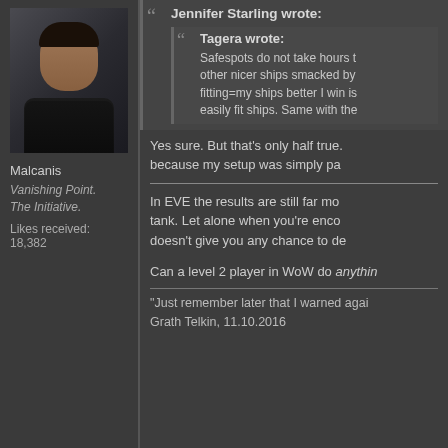[Figure (photo): Avatar image of a dark-haired male character from EVE Online, wearing a black outfit, against a dark background]
Malcanis
Vanishing Point.
The Initiative.
Likes received: 18,382
Jennifer Starling wrote:
Tagera wrote:
Safespots do not take hours to other nicer ships smacked by fitting=my ships better I win is easily fit ships. Same with the
Yes sure. But that's only half true. because my setup was simply pa
In EVE the results are still far mo tank. Let alone when you're enco doesn't give you any chance to de
Can a level 2 player in WoW do anything
"Just remember later that I warned agai
Grath Telkin, 11.10.2016